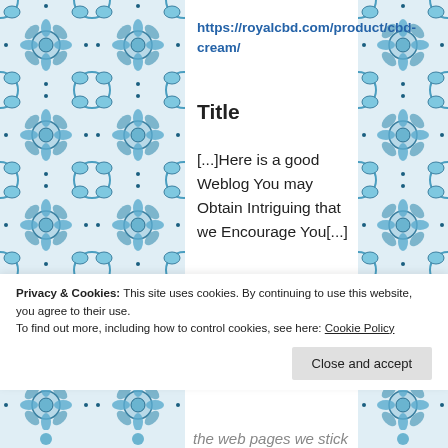[Figure (illustration): Blue and white Moroccan/Portuguese tile mosaic pattern forming left and right border columns of the page]
https://royalcbd.com/product/cbd-cream/
Title
[...]Here is a good Weblog You may Obtain Intriguing that we Encourage You[...]
Privacy & Cookies: This site uses cookies. By continuing to use this website, you agree to their use.
To find out more, including how to control cookies, see here: Cookie Policy
Close and accept
the web pages we stick